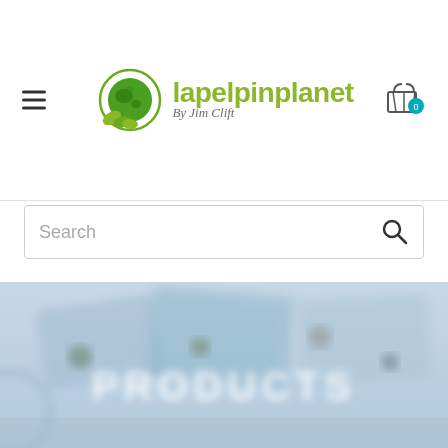[Figure (logo): Lapel Pin Planet by Jim Clift logo with green globe and leaf design]
Search
[Figure (photo): Blurred product image showing lapel pins on card backgrounds with 'PRODUCTS' text overlay]